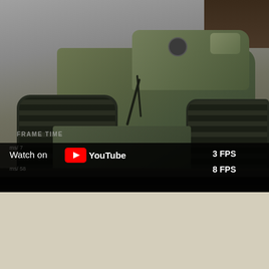[Figure (screenshot): YouTube video screenshot showing a 3D rendered military tank (viewed from the front-left low angle) with detailed tracks and olive-green armor plating. The video has a 'Watch on YouTube' overlay bar with FPS performance data: 3 FPS and 8 FPS readings visible. A 'FRAME TIME' label appears in the lower-left of the video area. The bottom portion of the page is a light beige/cream color.]